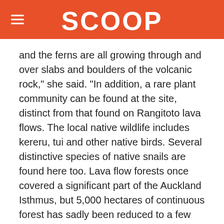SCOOP
and the ferns are all growing through and over slabs and boulders of the volcanic rock," she said. "In addition, a rare plant community can be found at the site, distinct from that found on Rangitoto lava flows. The local native wildlife includes kereru, tui and other native birds. Several distinctive species of native snails are found here too. Lava flow forests once covered a significant part of the Auckland Isthmus, but 5,000 hectares of continuous forest has sadly been reduced to a few remaining fragments."